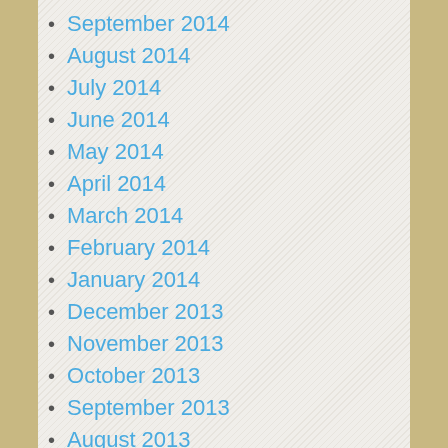September 2014
August 2014
July 2014
June 2014
May 2014
April 2014
March 2014
February 2014
January 2014
December 2013
November 2013
October 2013
September 2013
August 2013
July 2013
June 2013
May 2013
April 2013
March 2013